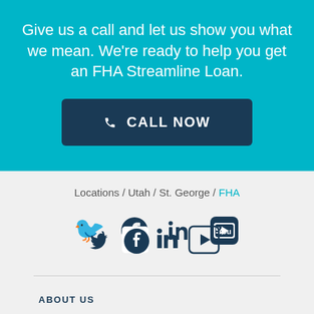Give us a call and let us show you what we mean. We're ready to help you get an FHA Streamline Loan.
[Figure (other): Call Now button with phone icon]
Locations / Utah / St. George / FHA
[Figure (other): Social media icons: Twitter, Facebook, LinkedIn, YouTube]
ABOUT US
CAREERS
INVESTOR RELATIONS